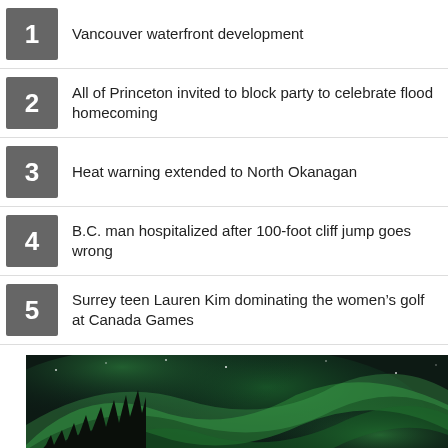Vancouver waterfront development
All of Princeton invited to block party to celebrate flood homecoming
Heat warning extended to North Okanagan
B.C. man hospitalized after 100-foot cliff jump goes wrong
Surrey teen Lauren Kim dominating the women's golf at Canada Games
[Figure (photo): Aurora borealis (northern lights) over a dark tree-lined landscape with green glowing bands across a dark sky, with a back-to-top button overlay]